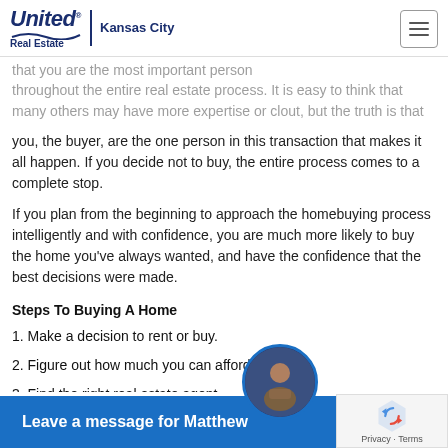United Real Estate Kansas City
and take the time to learn about purchasing a home...
that you are the most important person throughout the entire real estate process. It is easy to think that many others may have more expertise or clout, but the truth is that you, the buyer, are the one person in this transaction that makes it all happen. If you decide not to buy, the entire process comes to a complete stop.
If you plan from the beginning to approach the homebuying process intelligently and with confidence, you are much more likely to buy the home you've always wanted, and have the confidence that the best decisions were made.
Steps To Buying A Home
1. Make a decision to rent or buy.
2. Figure out how much you can afford.
3. Find the right real estate agent.
4. Get pre-approved.
5. Decide what kind of home you want.
6. Find...
Leave a message for Matthew